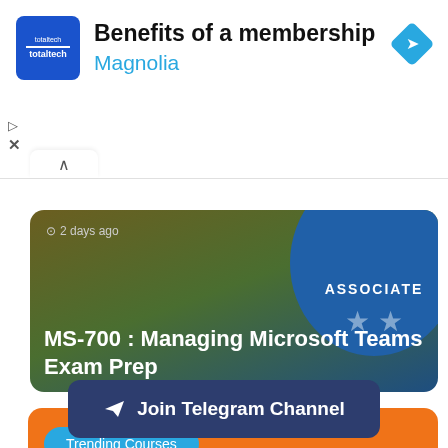[Figure (screenshot): Ad banner with totaltech logo, title 'Benefits of a membership', subtitle 'Magnolia', and a blue diamond direction icon. Play and close controls on the left.]
[Figure (screenshot): Course card with dark gradient background showing blue circle badge with 'ASSOCIATE' text and two stars, timestamp '2 days ago', and title 'MS-700 : Managing Microsoft Teams Exam Prep']
Trending Courses
Join Telegram Channel